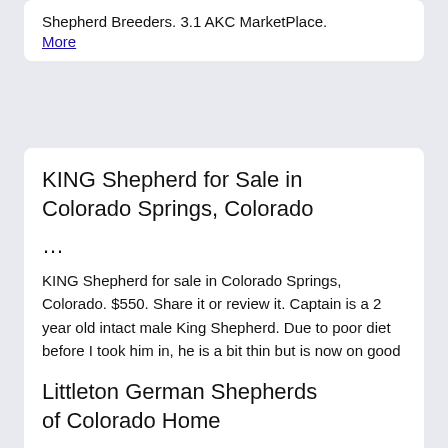German Shepherd & Online German Shepherd Breeders. 3.1 AKC MarketPlace. More
KING Shepherd for Sale in Colorado Springs, Colorado
...
KING Shepherd for sale in Colorado Springs, Colorado. $550. Share it or review it. Captain is a 2 year old intact male King Shepherd. Due to poor diet before I took him in, he is a bit thin but is now on good food and WILL fill out to be between 120-150 lbs if not more! More
Littleton German Shepherds of Colorado Home